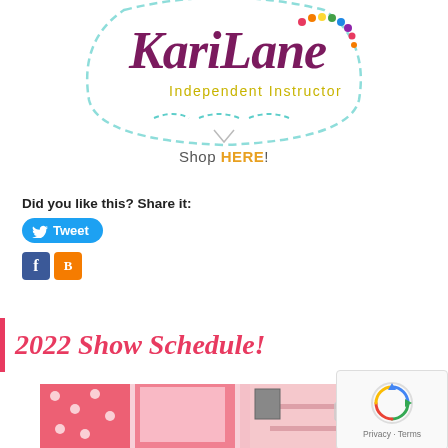[Figure (logo): Partial logo for 'KariLane Independent Instructor' with decorative teal/mint dashed border shape and colorful dots accent, purple/plum script text, yellow-green 'Independent Instructor' subtitle]
Shop HERE!
Did you like this? Share it:
[Figure (other): Twitter Tweet button (blue rounded rectangle with bird icon and 'Tweet' text)]
[Figure (other): Facebook and Blogger social sharing icon buttons]
2022 Show Schedule!
[Figure (photo): Interior room photo showing pink/red polka dot fabric curtains/valance on a window, pink walls, shelves with items, partially visible]
[Figure (other): reCAPTCHA widget overlay in bottom right showing spinning arrows icon and 'Privacy - Terms' text]